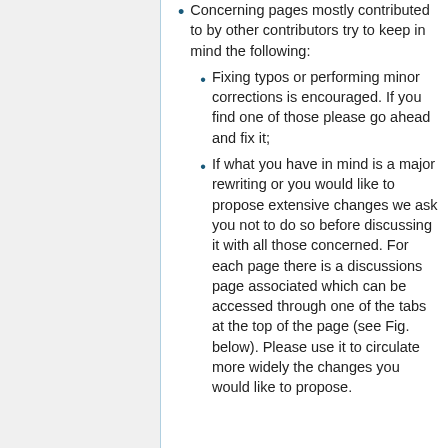Concerning pages mostly contributed to by other contributors try to keep in mind the following:
Fixing typos or performing minor corrections is encouraged. If you find one of those please go ahead and fix it;
If what you have in mind is a major rewriting or you would like to propose extensive changes we ask you not to do so before discussing it with all those concerned. For each page there is a discussions page associated which can be accessed through one of the tabs at the top of the page (see Fig. below). Please use it to circulate more widely the changes you would like to propose.